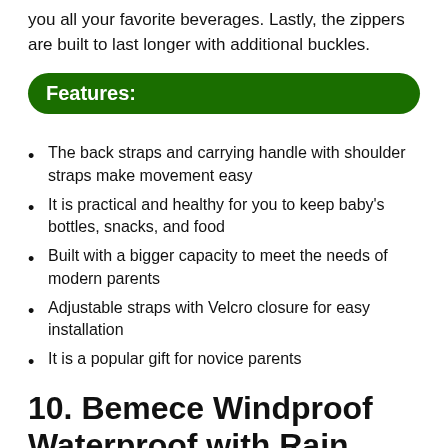you all your favorite beverages. Lastly, the zippers are built to last longer with additional buckles.
Features:
The back straps and carrying handle with shoulder straps make movement easy
It is practical and healthy for you to keep baby's bottles, snacks, and food
Built with a bigger capacity to meet the needs of modern parents
Adjustable straps with Velcro closure for easy installation
It is a popular gift for novice parents
10. Bemece Windproof Waterproof with Rain Cover